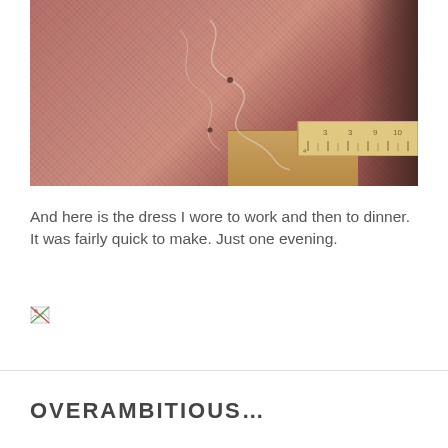[Figure (photo): Close-up photo of pink/salmon colored fabric being hand-sewn with a needle and thread, with a wooden ruler visible in the background.]
And here is the dress I wore to work and then to dinner. It was fairly quick to make. Just one evening.
[Figure (photo): Broken/missing image placeholder icon]
OVERAMBITIOUS...